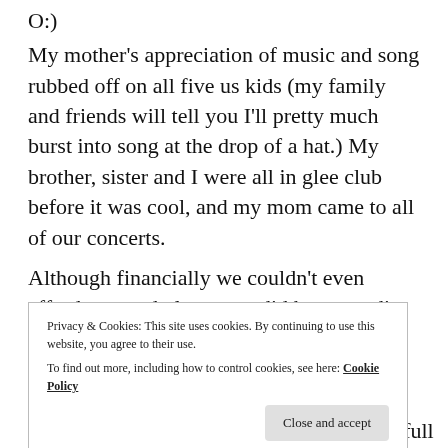O:)
My mother's appreciation of music and song rubbed off on all five us kids (my family and friends will tell you I'll pretty much burst into song at the drop of a hat.) My brother, sister and I were all in glee club before it was cool, and my mom came to all of our concerts.
Although financially we couldn't even afford a record player, we did have a radio. One. And it was on most of the time.
Privacy & Cookies: This site uses cookies. By continuing to use this website, you agree to their use.
To find out more, including how to control cookies, see here: Cookie Policy
malls had special Christmas concerts with full